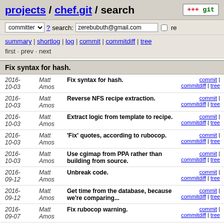projects / chef.git / search
committer ? search: zerebubuth@gmail.com re
summary | shortlog | log | commit | commitdiff | tree
first · prev · next
Fix syntax for hash.
| Date | Author | Message | Links |
| --- | --- | --- | --- |
| 2016-10-03 | Matt Amos | Fix syntax for hash. | commit | commitdiff | tree |
| 2016-10-03 | Matt Amos | Reverse NFS recipe extraction. | commit | commitdiff | tree |
| 2016-10-03 | Matt Amos | Extract logic from template to recipe. | commit | commitdiff | tree |
| 2016-10-03 | Matt Amos | 'Fix' quotes, according to rubocop. | commit | commitdiff | tree |
| 2016-10-03 | Matt Amos | Use cgimap from PPA rather than building from source. | commit | commitdiff | tree |
| 2016-09-12 | Matt Amos | Unbreak code. | commit | commitdiff | tree |
| 2016-09-12 | Matt Amos | Get time from the database, because we're comparing... | commit | commitdiff | tree |
| 2016-09-07 | Matt Amos | Fix rubocop warning. | commit | commitdiff | tree |
| 2016- | Matt | Make missing variable a local | commit | commitdiff | tree |